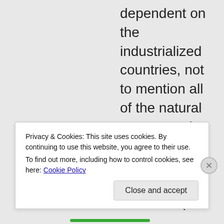dependent on the industrialized countries, not to mention all of the natural resources that get wasted by transporting crops around the world (that
Privacy & Cookies: This site uses cookies. By continuing to use this website, you agree to their use.
To find out more, including how to control cookies, see here: Cookie Policy